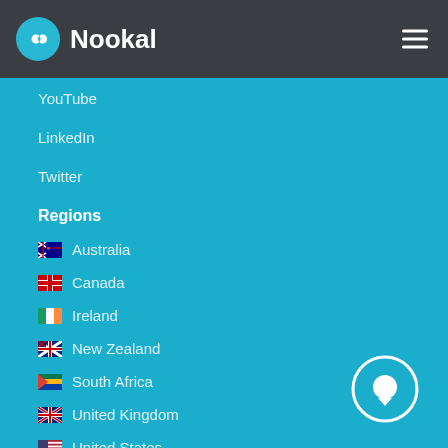Nookal
YouTube
LinkedIn
Twitter
Regions
🇦🇺 Australia
🇨🇦 Canada
🇮🇪 Ireland
🇳🇿 New Zealand
🇿🇦 South Africa
🇬🇧 United Kingdom
🇺🇸 United States
🌐 Planet Earth